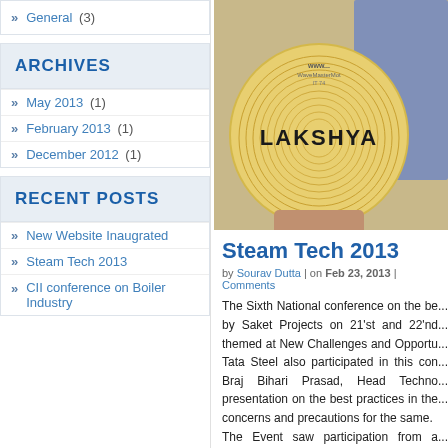» General (3)
ARCHIVES
» May 2013 (1)
» February 2013 (1)
» December 2012 (1)
RECENT POSTS
» New Website Inaugrated
» Steam Tech 2013
» CII conference on Boiler Industry
[Figure (photo): Photo of a circular disc labeled LAKSHYA with concentric rings, held up by a person]
Steam Tech 2013
by Sourav Dutta | on Feb 23, 2013 | Comments
The Sixth National conference on the be... by Saket Projects on 21'st and 22'nd... themed at New Challenges and Opportu... Tata Steel also participated in this con... Braj Bihari Prasad, Head Techno... presentation on the best practices in the... concerns and precautions for the same. The Event saw participation from a... manufacturers in and around Ahmedab... 530 Delegates who joined in the confere... Most of the speakers tried to focus...